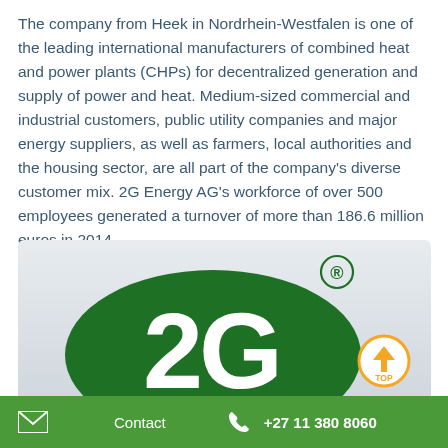The company from Heek in Nordrhein-Westfalen is one of the leading international manufacturers of combined heat and power plants (CHPs) for decentralized generation and supply of power and heat. Medium-sized commercial and industrial customers, public utility companies and major energy suppliers, as well as farmers, local authorities and the housing sector, are all part of the company's diverse customer mix. 2G Energy AG's workforce of over 500 employees generated a turnover of more than 186.6 million euros in 2014.
[Figure (logo): 2G Energy AG logo — white '2G' text on a dark green oval, with registered trademark symbol, on a light grey gradient background. An orange 'TOP' button with upward arrow is overlaid in the bottom-right.]
Contact   +27 11 380 8060